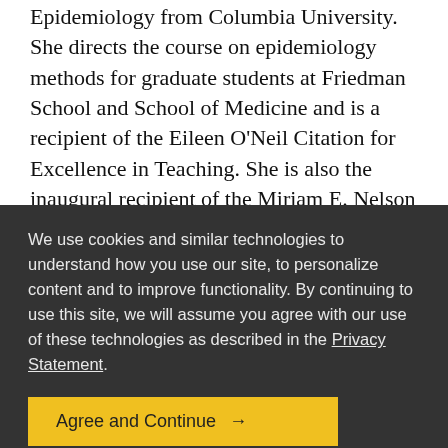Epidemiology from Columbia University. She directs the course on epidemiology methods for graduate students at Friedman School and School of Medicine and is a recipient of the Eileen O'Neil Citation for Excellence in Teaching. She is also the inaugural recipient of the Miriam E. Nelson Tisch Faculty Fellow from
We use cookies and similar technologies to understand how you use our site, to personalize content and to improve functionality. By continuing to use this site, we will assume you agree with our use of these technologies as described in the Privacy Statement.
Agree and Continue →